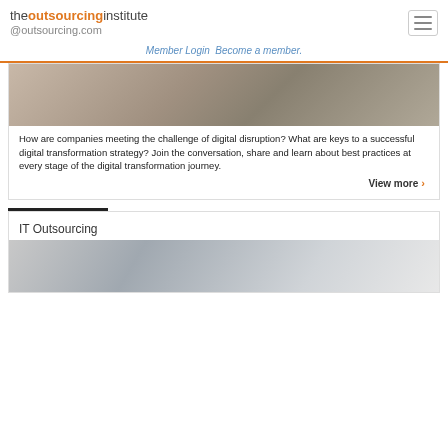theoutsourcinginstitute @outsourcing.com
Member Login  Become a member.
[Figure (photo): Blurred image of a person with hand raised, dark background]
How are companies meeting the challenge of digital disruption? What are keys to a successful digital transformation strategy? Join the conversation, share and learn about best practices at every stage of the digital transformation journey.
View more >
IT Outsourcing
[Figure (photo): Close-up blurred image of a person near technology/keyboard]